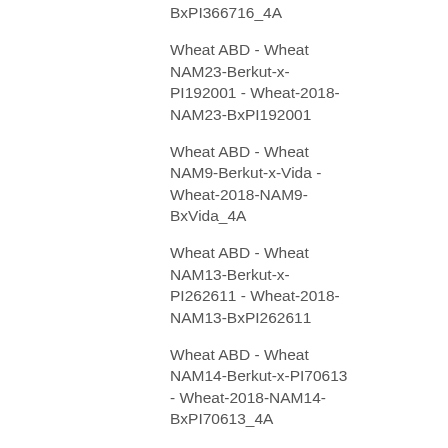BxPI366716_4A
Wheat ABD - Wheat NAM23-Berkut-x-PI192001 - Wheat-2018-NAM23-BxPI192001
Wheat ABD - Wheat NAM9-Berkut-x-Vida - Wheat-2018-NAM9-BxVida_4A
Wheat ABD - Wheat NAM13-Berkut-x-PI262611 - Wheat-2018-NAM13-BxPI262611
Wheat ABD - Wheat NAM14-Berkut-x-PI70613 - Wheat-2018-NAM14-BxPI70613_4A
Wheat ABD - Wheat NAM12-Berkut-x-Cltr11223 - Wheat-2018-NAM12-BxCltr11223
Wheat ABD - Wheat NAM23-Berkut-x-PI192001 - Wheat-2018-NAM23-BxPI192001
Wheat ABD -